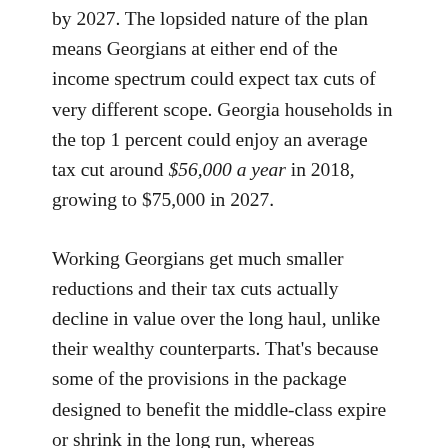by 2027. The lopsided nature of the plan means Georgians at either end of the income spectrum could expect tax cuts of very different scope. Georgia households in the top 1 percent could enjoy an average tax cut around $56,000 a year in 2018, growing to $75,000 in 2027.
Working Georgians get much smaller reductions and their tax cuts actually decline in value over the long haul, unlike their wealthy counterparts. That's because some of the provisions in the package designed to benefit the middle-class expire or shrink in the long run, whereas provisions tailored to those better-off become more generous. The middle fifth of Georgia households, or taxpayers earning from $38,600 to $59,300 a year, could expect an average